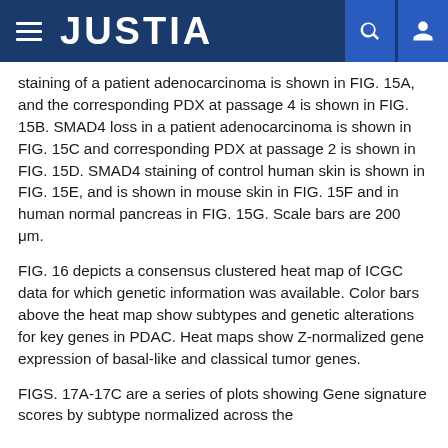JUSTIA
staining of a patient adenocarcinoma is shown in FIG. 15A, and the corresponding PDX at passage 4 is shown in FIG. 15B. SMAD4 loss in a patient adenocarcinoma is shown in FIG. 15C and corresponding PDX at passage 2 is shown in FIG. 15D. SMAD4 staining of control human skin is shown in FIG. 15E, and is shown in mouse skin in FIG. 15F and in human normal pancreas in FIG. 15G. Scale bars are 200 μm.
FIG. 16 depicts a consensus clustered heat map of ICGC data for which genetic information was available. Color bars above the heat map show subtypes and genetic alterations for key genes in PDAC. Heat maps show Z-normalized gene expression of basal-like and classical tumor genes.
FIGS. 17A-17C are a series of plots showing Gene signature scores by subtype normalized across the